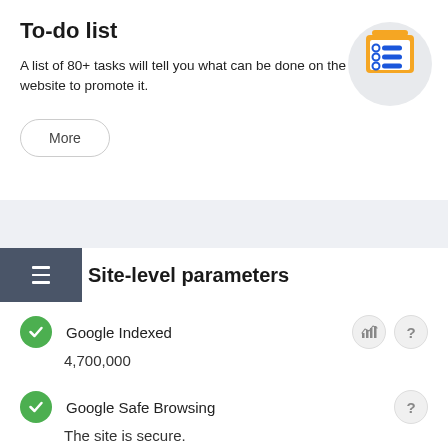To-do list
A list of 80+ tasks will tell you what can be done on the website to promote it.
[Figure (illustration): Clipboard icon with a yellow folder and blue checklist items on a light grey circular background]
More
Site-level parameters
Google Indexed
4,700,000
Google Safe Browsing
The site is secure.